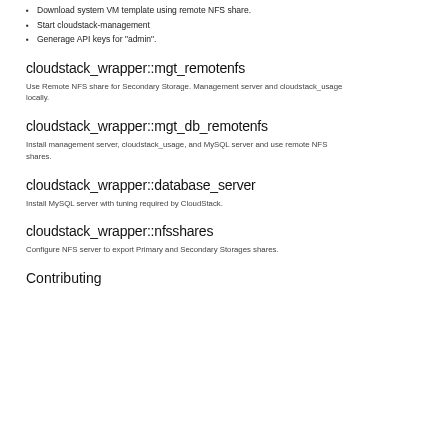Download system VM template using remote NFS share.
Start cloudstack-management
Generage API keys for "admin".
cloudstack_wrapper::mgt_remotenfs
Use Remote NFS share for Secondary Storage. Management server and cloudstack_usage locally.
cloudstack_wrapper::mgt_db_remotenfs
Install management server, cloudstack_usage, and MySQL server and use remote NFS shares.
cloudstack_wrapper::database_server
Install MySQL server with tuning required by CloudStack.
cloudstack_wrapper::nfsshares
Configure NFS server to export Primary and Secondary Storages shares.
Contributing